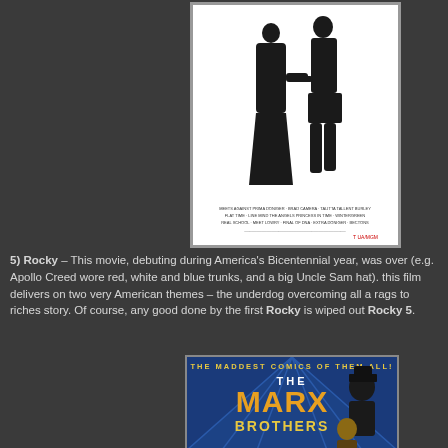[Figure (photo): Rocky movie poster showing two silhouetted figures holding hands, one in formal dress and one in boxing shorts, with movie credits text at the bottom on a white background]
5) Rocky – This movie, debuting during America's Bicentennial year, was over (e.g. Apollo Creed wore red, white and blue trunks, and a big Uncle Sam hat). this film delivers on two very American themes – the underdog overcoming all a rags to riches story. Of course, any good done by the first Rocky is wiped out by Rocky 5.
[Figure (photo): The Marx Brothers movie poster with text 'THE MADDEST COMICS OF THEM ALL! THE MARX BROTHERS' on a blue background with character illustrations]